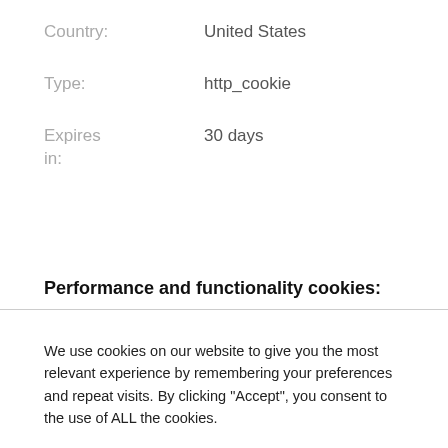Country:    United States
Type:    http_cookie
Expires in:    30 days
Performance and functionality cookies:
We use cookies on our website to give you the most relevant experience by remembering your preferences and repeat visits. By clicking “Accept”, you consent to the use of ALL the cookies.
Cookie settings
ACCEPT